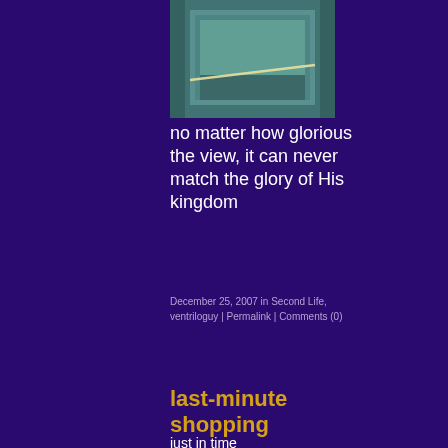[Figure (photo): A photo showing a teal/blue-green glass or transparent wall surface with a diagonal white line, taken from an elevated viewpoint.]
no matter how glorious the view, it can never match the glory of His kingdom
December 25, 2007 in Second Life, ventriloguy | Permalink | Comments (0)
last-minute shopping
just in time